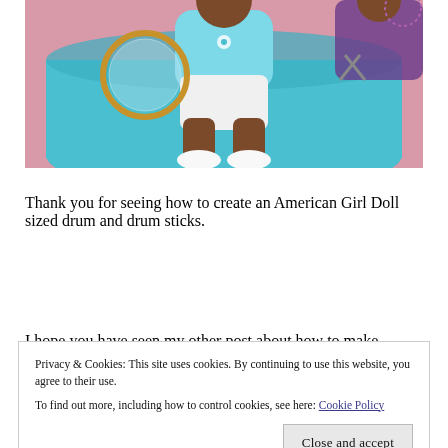[Figure (photo): Photo of an American Girl doll sitting in a teal/blue tub or drum, wearing a light blue outfit with white shoes, holding what appears to be a transparent drum hoop. Another doll is partially visible in the upper right corner.]
Thank you for seeing how to create an American Girl Doll sized drum and drum sticks.
I hope you have seen my other post about how to make
Privacy & Cookies: This site uses cookies. By continuing to use this website, you agree to their use.
To find out more, including how to control cookies, see here: Cookie Policy
Close and accept